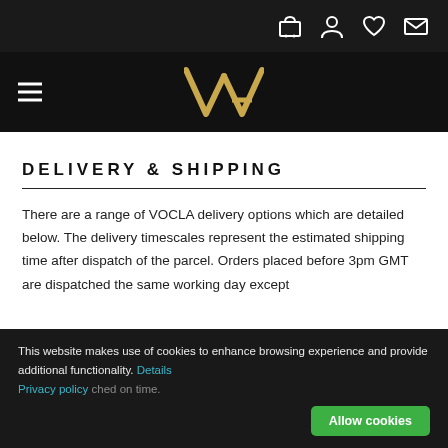VOCLA website header with navigation icons (cart, account, wishlist, mail) and hamburger menu with VA logo
DELIVERY & SHIPPING
There are a range of VOCLA delivery options which are detailed below. The delivery timescales represent the estimated shipping time after dispatch of the parcel. Orders placed before 3pm GMT are dispatched the same working day except
This website makes use of cookies to enhance browsing experience and provide additional functionality. Details Privacy policy [...]ched on time.